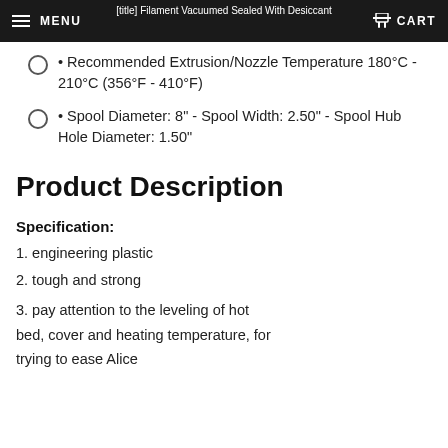MENU | [title partially visible] | CART
• Recommended Extrusion/Nozzle Temperature 180°C - 210°C (356°F - 410°F)
• Spool Diameter: 8" - Spool Width: 2.50" - Spool Hub Hole Diameter: 1.50"
Product Description
Specification:
1. engineering plastic
2. tough and strong
3. pay attention to the leveling of hot bed, cover and heating temperature, for trying to ease Alice